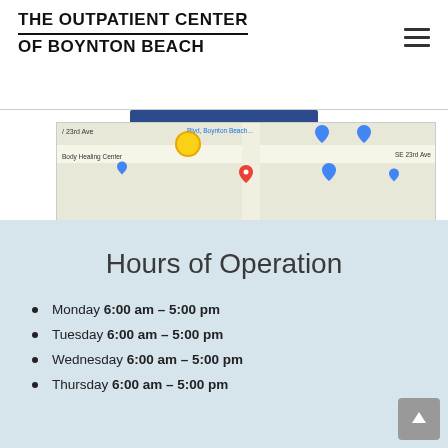THE OUTPATIENT CENTER OF BOYNTON BEACH
[Figure (screenshot): Google Maps screenshot showing the location near Boynton Beach Blvd and SE 23rd Ave, with Body Healing Center label visible]
Hours of Operation
Monday 6:00 am – 5:00 pm
Tuesday 6:00 am – 5:00 pm
Wednesday 6:00 am – 5:00 pm
Thursday 6:00 am – 5:00 pm